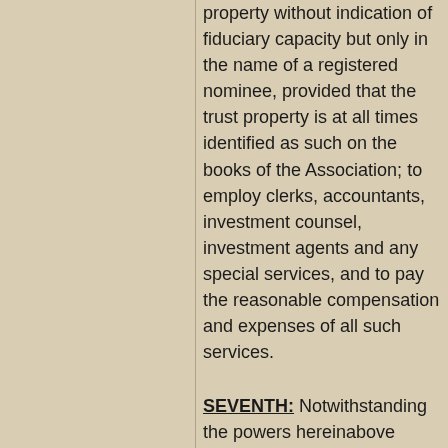property without indication of fiduciary capacity but only in the name of a registered nominee, provided that the trust property is at all times identified as such on the books of the Association; to employ clerks, accountants, investment counsel, investment agents and any special services, and to pay the reasonable compensation and expenses of all such services.
SEVENTH: Notwithstanding the powers hereinabove granted to the Trustees under Articles Fifth and Sixth above, they shall not
(a) lend any part of the income or corpus of the Association without the